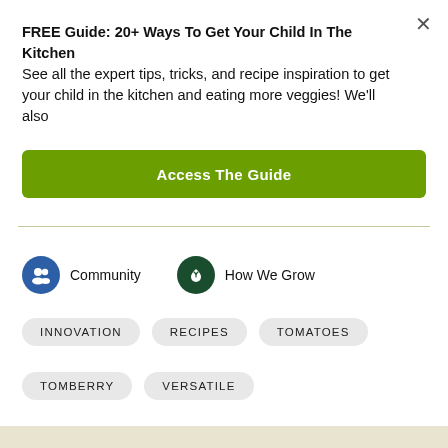FREE Guide: 20+ Ways To Get Your Child In The Kitchen See all the expert tips, tricks, and recipe inspiration to get your child in the kitchen and eating more veggies! We'll also
Access The Guide
Community
How We Grow
INNOVATION
RECIPES
TOMATOES
TOMBERRY
VERSATILE